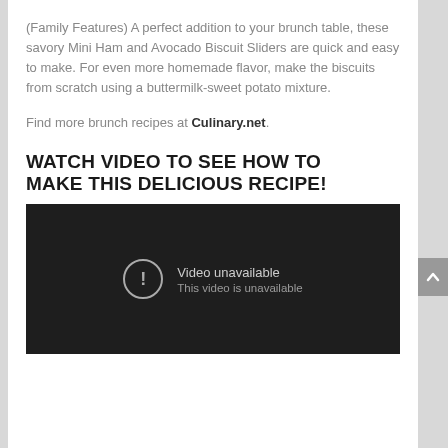(Family Features) A perfect addition to your brunch table, these savory Mini Ham and Avocado Biscuit Sliders are quick and easy to make. For even more homemade flavor, make the biscuits from scratch using a buttermilk-sweet potato mixture.
Find more brunch recipes at Culinary.net.
WATCH VIDEO TO SEE HOW TO MAKE THIS DELICIOUS RECIPE!
[Figure (screenshot): Embedded video player showing 'Video unavailable. This video is unavailable.' message on a dark background.]